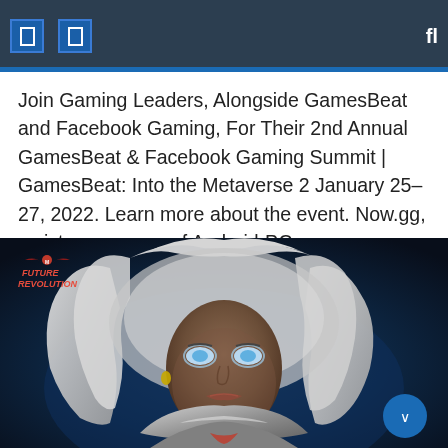Navigation header with icons and search
Join Gaming Leaders, Alongside GamesBeat and Facebook Gaming, For Their 2nd Annual GamesBeat & Facebook Gaming Summit | GamesBeat: Into the Metaverse 2 January 25-27, 2022. Learn more about the event. Now.gg, a sister company of Android-PC game company BlueStacks, has launched a mobile cloud platform to expand the reach of game developers, and now [...]
[Figure (photo): Marvel Future Revolution game screenshot showing a female character with white hair, glowing blue eyes, wearing futuristic silver armor. The Marvel Future Revolution logo is visible in the top left corner. A blue circular button is visible in the bottom right.]